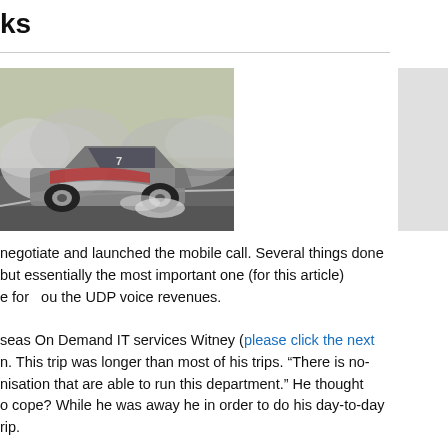ks
[Figure (photo): A drifting car on a racetrack with smoke coming from the tires, viewed from the side on a gray asphalt track with green grass visible in the background.]
negotiate and launched the mobile call. Several things done but essentially the most important one (for this article) e for   ou the UDP voice revenues.
seas On Demand IT services Witney (please click the next n. This trip was longer than most of his trips. “There is no-nisation that are able to run this department.” He thought o cope? While he was away he in order to do his day-to-day rip.